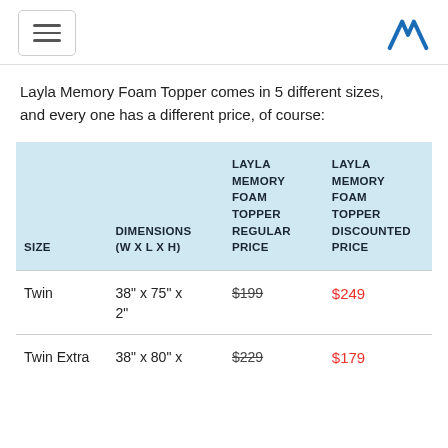Navigation menu and logo
Layla Memory Foam Topper comes in 5 different sizes, and every one has a different price, of course:
| SIZE | DIMENSIONS (W x L x H) | LAYLA MEMORY FOAM TOPPER REGULAR PRICE | LAYLA MEMORY FOAM TOPPER DISCOUNTED PRICE |
| --- | --- | --- | --- |
| Twin | 38" x 75" x 2" | $199 | $249 |
| Twin Extra | 38" x 80" x | $229 | $179 |